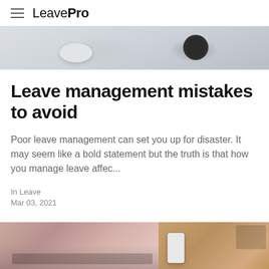LeavePro
[Figure (photo): Top cropped photo showing a desk surface with a computer mouse and a roll of tape/dark cylindrical object, light gray background]
Leave management mistakes to avoid
Poor leave management can set you up for disaster. It may seem like a bold statement but the truth is that how you manage leave affec...
In Leave
Mar 03, 2021
[Figure (photo): Bottom cropped photo showing two side-by-side images: left side shows a person in pink shirt working on a laptop keyboard, right side shows a wooden desk with a smartphone and laptop]